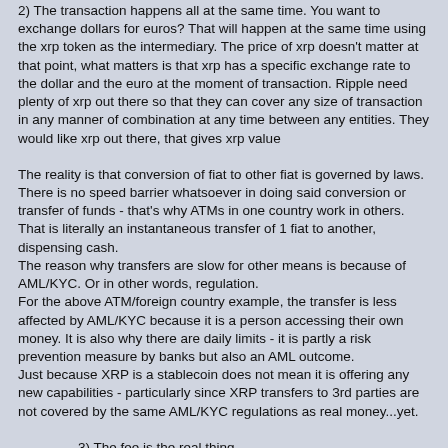2) The transaction happens all at the same time. You want to exchange dollars for euros? That will happen at the same time using the xrp token as the intermediary. The price of xrp doesn't matter at that point, what matters is that xrp has a specific exchange rate to the dollar and the euro at the moment of transaction. Ripple need plenty of xrp out there so that they can cover any size of transaction in any manner of combination at any time between any entities. They would like xrp out there, that gives xrp value
The reality is that conversion of fiat to other fiat is governed by laws. There is no speed barrier whatsoever in doing said conversion or transfer of funds - that's why ATMs in one country work in others. That is literally an instantaneous transfer of 1 fiat to another, dispensing cash.
The reason why transfers are slow for other means is because of AML/KYC. Or in other words, regulation.
For the above ATM/foreign country example, the transfer is less affected by AML/KYC because it is a person accessing their own money. It is also why there are daily limits - it is partly a risk prevention measure by banks but also an AML outcome.
Just because XRP is a stablecoin does not mean it is offering any new capabilities - particularly since XRP transfers to 3rd parties are not covered by the same AML/KYC regulations as real money...yet.
3) The fee is the real thing...